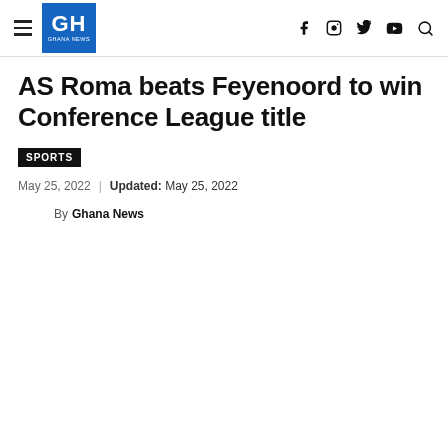GH GHANA NEWS
AS Roma beats Feyenoord to win Conference League title
SPORTS
May 25, 2022 | Updated: May 25, 2022
By Ghana News